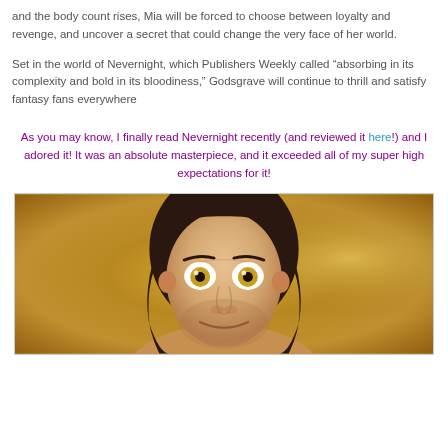and the body count rises, Mia will be forced to choose between loyalty and revenge, and uncover a secret that could change the very face of her world.

Set in the world of Nevernight, which Publishers Weekly called “absorbing in its complexity and bold in its bloodiness,” Godsgrave will continue to thrill and satisfy fantasy fans everywhere
As you may know, I finally read Nevernight recently (and reviewed it here!) and I adored it! It was an absolute masterpiece, and it exceeded all of my super high expectations for it!
[Figure (photo): Close-up photo of a man with long dark hair, wide surprised-looking eyes with yellow/amber irises, and a beard, against a blurred golden/warm background]